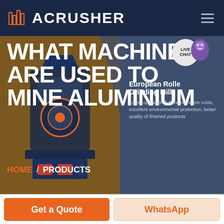ACRUSHER
WHAT MACHINES ARE USED TO MINE ALUMINIUM
[Figure (screenshot): Live chat button bubble with 'LIVE CHAT' text and purple mascot character]
[Figure (photo): Industrial crushing/grinding machine (dark blue and red) shown on brownish-dark background]
European Roller Grinding Mill
Lower operational & maintenance costs, excellent environmental protection, better quality of finished products
HOME / PRODUCTS
Get a Quote
WhatsApp